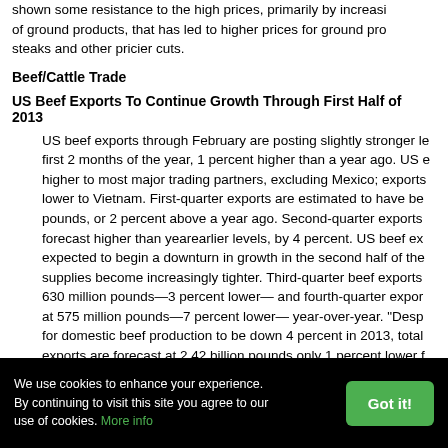shown some resistance to the high prices, primarily by increasing of ground products, that has led to higher prices for ground products steaks and other pricier cuts.
Beef/Cattle Trade
US Beef Exports To Continue Growth Through First Half of 2013
US beef exports through February are posting slightly stronger levels first 2 months of the year, 1 percent higher than a year ago. US exports higher to most major trading partners, excluding Mexico; exports lower to Vietnam. First-quarter exports are estimated to have been pounds, or 2 percent above a year ago. Second-quarter exports forecast higher than yearearlier levels, by 4 percent. US beef exports expected to begin a downturn in growth in the second half of the year as supplies become increasingly tighter. Third-quarter beef exports 630 million pounds—3 percent lower— and fourth-quarter exports at 575 million pounds—7 percent lower— year-over-year. "Despite for domestic beef production to be down 4 percent in 2013, total exports are forecast at 2.42 billion pounds only 1 percent lower f
We use cookies to enhance your experience. By continuing to visit this site you agree to our use of cookies. More info